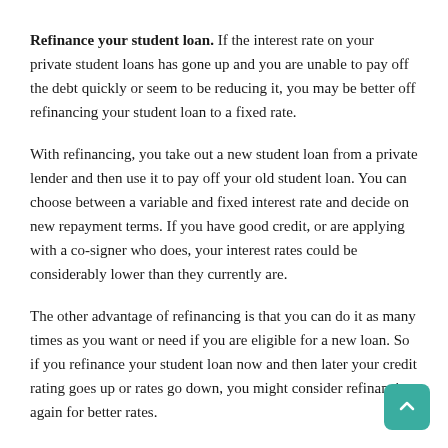Refinance your student loan. If the interest rate on your private student loans has gone up and you are unable to pay off the debt quickly or seem to be reducing it, you may be better off refinancing your student loan to a fixed rate.
With refinancing, you take out a new student loan from a private lender and then use it to pay off your old student loan. You can choose between a variable and fixed interest rate and decide on new repayment terms. If you have good credit, or are applying with a co-signer who does, your interest rates could be considerably lower than they currently are.
The other advantage of refinancing is that you can do it as many times as you want or need if you are eligible for a new loan. So if you refinance your student loan now and then later your credit rating goes up or rates go down, you might consider refinancing again for better rates.
If you have a federal variable rate student loan, that is, taken out before 2006, you may consider refinancing it to a private fixed rate student loan through a private lender. But keep in mind that you will miss the benefits of federal student loans, such as income-based repayment plans and deferral options.